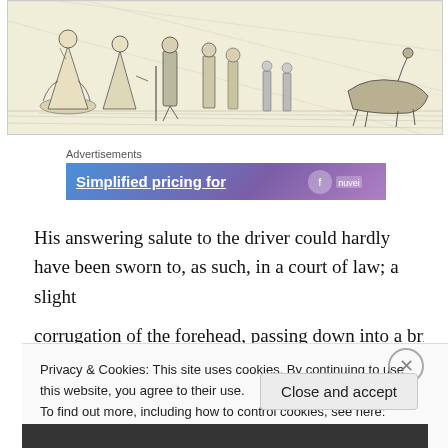[Figure (illustration): Black and white engraving/illustration depicting a group of people in 19th century clothing, standing and interacting outdoors, appears to show a street scene with figures including women in dresses and men in coats.]
Advertisements
[Figure (other): Advertisement banner with gradient background (blue to purple), text: 'Simplified pricing for' with a logo icon on the right]
His answering salute to the driver could hardly have been sworn to, as such, in a court of law; a slight corrugation of the forehead, passing down into a brief
Privacy & Cookies: This site uses cookies. By continuing to use this website, you agree to their use.
To find out more, including how to control cookies, see here: Cookie Policy
Close and accept